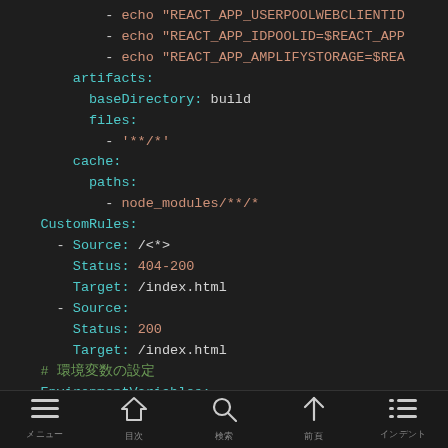[Figure (screenshot): Code editor screenshot showing YAML configuration with artifacts, cache, CustomRules, and EnvironmentVariables sections. Dark theme with cyan, orange, and green syntax highlighting.]
menu  home  search  up  indent